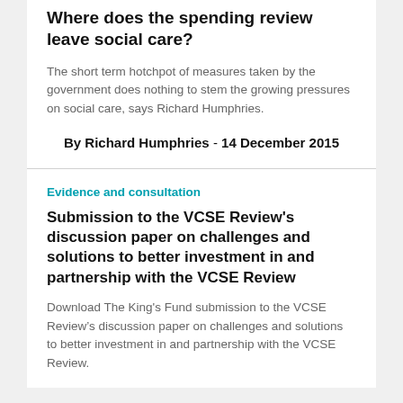Where does the spending review leave social care?
The short term hotchpot of measures taken by the government does nothing to stem the growing pressures on social care, says Richard Humphries.
By Richard Humphries - 14 December 2015
Evidence and consultation
Submission to the VCSE Review’s discussion paper on challenges and solutions to better investment in and partnership with the VCSE Review
Download The King's Fund submission to the VCSE Review’s discussion paper on challenges and solutions to better investment in and partnership with the VCSE Review.